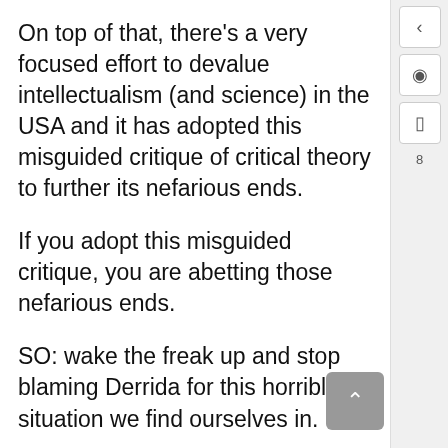On top of that, there’s a very focused effort to devalue intellectualism (and science) in the USA and it has adopted this misguided critique of critical theory to further its nefarious ends.
If you adopt this misguided critique, you are abetting those nefarious ends.
SO: wake the freak up and stop blaming Derrida for this horrible situation we find ourselves in.
Don’t be a naive patsy that plays into this scam!
Join the SJWs in investigating power/knowledge to build a more equitable